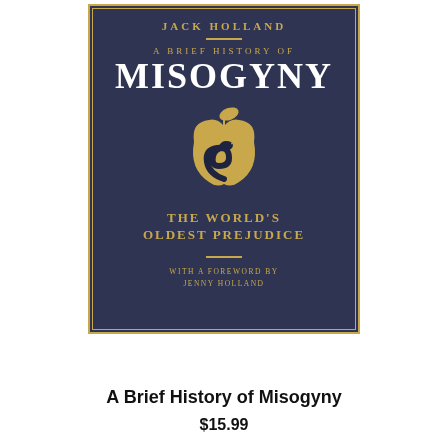[Figure (illustration): Book cover of 'A Brief History of Misogyny' by Jack Holland. Dark navy blue cover with gold border. Features the title in white large letters, subtitle 'THE WORLD'S OLDEST PREJUDICE' in gold, a gold apple with a black snake illustration in the center, and 'WITH A FOREWORD BY JENNY HOLLAND' at the bottom in gold text.]
A Brief History of Misogyny
$15.99